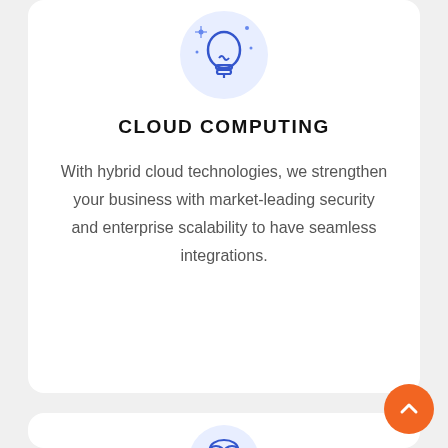[Figure (illustration): Blue lightbulb icon with sparkles on a light blue circular background]
CLOUD COMPUTING
With hybrid cloud technologies, we strengthen your business with market-leading security and enterprise scalability to have seamless integrations.
[Figure (illustration): Blue cloud computing icon with server stacks connected by lines, on a light blue circular background]
OPTIMAL COST